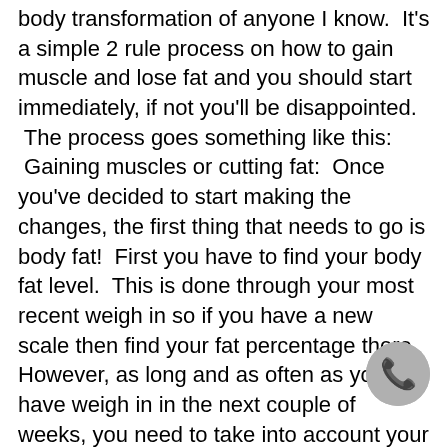body transformation of anyone I know.  It's a simple 2 rule process on how to gain muscle and lose fat and you should start immediately, if not you'll be disappointed.  The process goes something like this:  Gaining muscles or cutting fat:  Once you've decided to start making the changes, the first thing that needs to go is body fat!  First you have to find your body fat level.  This is done through your most recent weigh in so if you have a new scale then find your fat percentage there.  However, as long and as often as you have weigh in in the next couple of weeks, you need to take into account your new or updated weigh in.  If for example you weigh in 2 weeks ago and decide to weigh in now, weight, measure your waist and see if you increased your body fat percentage then go ahead and do this again.  However if you weigh in 6 weeks ago and decide you want to weigh in again, I would weigh, measure, and record your body fat percentage and
[Figure (other): Phone/call icon — circular grey button with white telephone handset symbol]